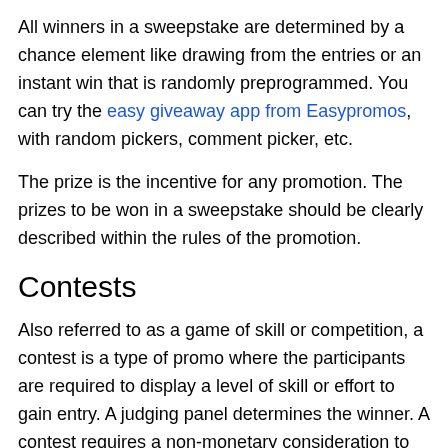All winners in a sweepstake are determined by a chance element like drawing from the entries or an instant win that is randomly preprogrammed. You can try the easy giveaway app from Easypromos, with random pickers, comment picker, etc.
The prize is the incentive for any promotion. The prizes to be won in a sweepstake should be clearly described within the rules of the promotion.
Contests
Also referred to as a game of skill or competition, a contest is a type of promo where the participants are required to display a level of skill or effort to gain entry. A judging panel determines the winner. A contest requires a non-monetary consideration to win. Instead, participants must show a skill like creating art, writing an essay, or participating in physical challenges against other contestants. In a contest, the free entry method is not required. You can choose to